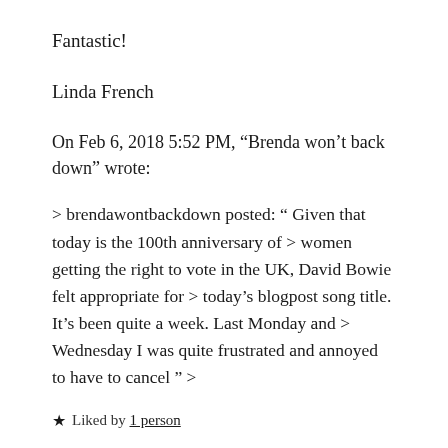Fantastic!
Linda French
On Feb 6, 2018 5:52 PM, “Brenda won’t back down” wrote:
> brendawontbackdown posted: “ Given that today is the 100th anniversary of > women getting the right to vote in the UK, David Bowie felt appropriate for > today’s blogpost song title. It’s been quite a week. Last Monday and > Wednesday I was quite frustrated and annoyed to have to cancel ” >
★ Liked by 1 person